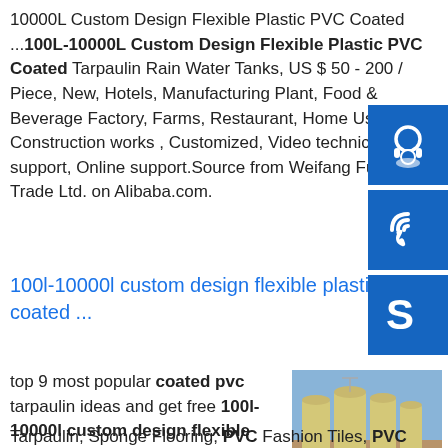10000L Custom Design Flexible Plastic PVC Coated ...100L-10000L Custom Design Flexible Plastic PVC Coated Tarpaulin Rain Water Tanks, US $ 50 - 200 / Piece, New, Hotels, Manufacturing Plant, Food & Beverage Factory, Farms, Restaurant, Home Use, Construction works , Customized, Video technical support, Online support.Source from Weifang Fushan Trade Ltd. on Alibaba.com.
100l-10000l custom design flexible plastic coated ...
top 9 most popular coated pvc tarpaulin ideas and get free 100l-10000l custom design flexible plastic pvc coated tarpau. Products: PVC Cushion Sheet, PVC Floor Covering, PVC Tarpaulin, Sponge Flooring, PVC Fashion Tiles, PVC
[Figure (photo): Outdoor industrial storage tanks, beige/cream colored large cylindrical tanks at a facility under a blue sky]
[Figure (illustration): Blue square icon with white headset/customer support symbol]
[Figure (illustration): Blue square icon with white phone/call symbol]
[Figure (illustration): Blue square icon with white Skype logo]